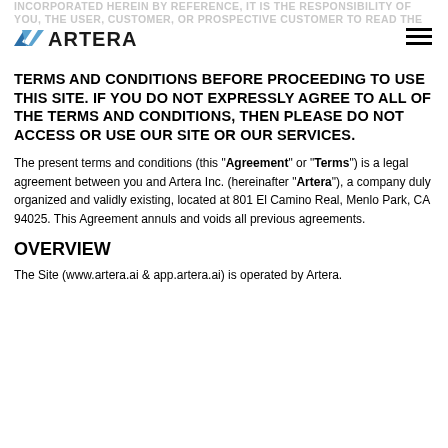INCORPORATED HEREIN BY REFERENCE, IT IS THE RESPONSIBILITY OF YOU, THE USER, CUSTOMER, OR PROSPECTIVE CUSTOMER TO READ THE TERMS AND CONDITIONS BEFORE PROCEEDING
[Figure (logo): Artera logo with blue stylized arrow/chevron and bold ARTERA text]
TERMS AND CONDITIONS BEFORE PROCEEDING TO USE THIS SITE. IF YOU DO NOT EXPRESSLY AGREE TO ALL OF THE TERMS AND CONDITIONS, THEN PLEASE DO NOT ACCESS OR USE OUR SITE OR OUR SERVICES.
The present terms and conditions (this "Agreement" or "Terms") is a legal agreement between you and Artera Inc. (hereinafter "Artera"), a company duly organized and validly existing, located at 801 El Camino Real, Menlo Park, CA 94025. This Agreement annuls and voids all previous agreements.
OVERVIEW
The Site (www.artera.ai & app.artera.ai) is operated by Artera.